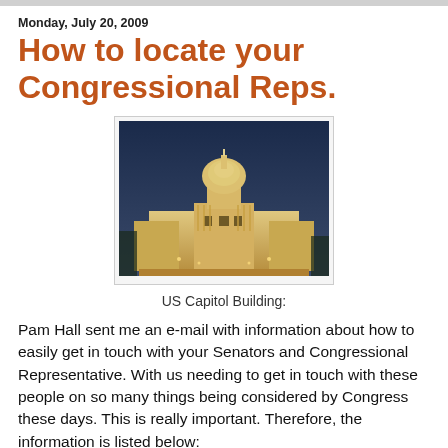Monday, July 20, 2009
How to locate your Congressional Reps.
[Figure (photo): Photograph of the US Capitol Building at dusk/night with illuminated dome against a blue sky]
US Capitol Building:
Pam Hall sent me an e-mail with information about how to easily get in touch with your Senators and Congressional Representative. With us needing to get in touch with these people on so many things being considered by Congress these days. This is really important. Therefore, the information is listed below: